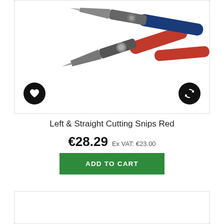[Figure (photo): Left & Straight Cutting Snips Red tool with red and blue handles, shown from above on white background. Black circular heart/wishlist icon bottom-left, black circular compare icon bottom-right.]
Left & Straight Cutting Snips Red
€28.29 Ex VAT: €23.00
ADD TO CART
[Figure (photo): Partially visible second product card, bottom of page, contents not visible.]